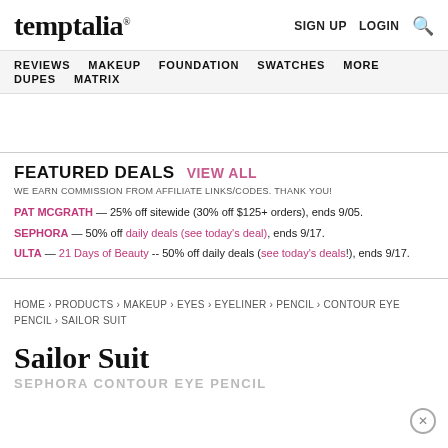temptalia® | SIGN UP  LOGIN  🔍
REVIEWS  MAKEUP  FOUNDATION  SWATCHES  MORE
DUPES  MATRIX
FEATURED DEALS  VIEW ALL
WE EARN COMMISSION FROM AFFILIATE LINKS/CODES. THANK YOU!
PAT MCGRATH — 25% off sitewide (30% off $125+ orders), ends 9/05.
SEPHORA — 50% off daily deals (see today's deal), ends 9/17.
ULTA — 21 Days of Beauty -- 50% off daily deals (see today's deals!), ends 9/17.
HOME > PRODUCTS > MAKEUP > EYES > EYELINER > PENCIL > CONTOUR EYE PENCIL > SAILOR SUIT
Sailor Suit
SEPHORA CONTOUR EYE PENCIL